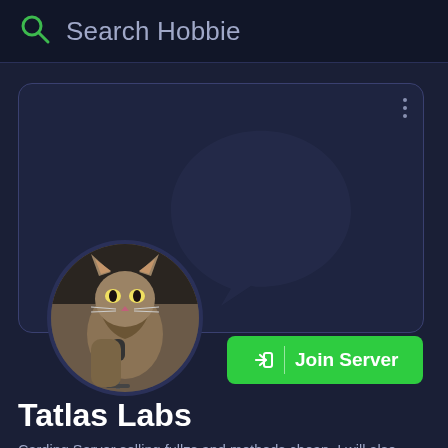Search Hobbie
[Figure (screenshot): Discord-style server card with a chat bubble watermark icon, three-dot menu, a circular avatar showing a cat sitting in front of a microphone, and a green Join Server button]
Tatlas Labs
Carding Server selling fullzs and methods cheap. I will also teach